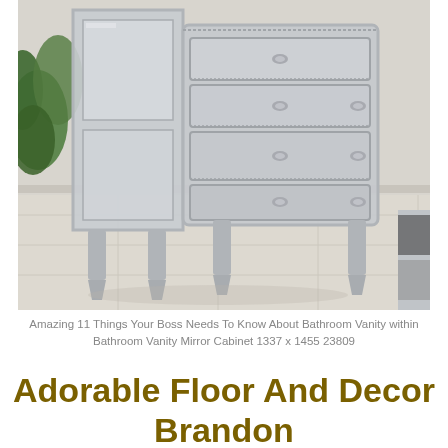[Figure (photo): A mirrored dresser/cabinet with multiple drawers featuring silver handles, standing on tapered legs with a mirrored finish. The furniture is placed on a white tile floor. A green plant is partially visible on the left, and another mirrored piece of furniture is partially visible on the right.]
Amazing 11 Things Your Boss Needs To Know About Bathroom Vanity within Bathroom Vanity Mirror Cabinet 1337 x 1455 23809
Adorable Floor And Decor Brandon